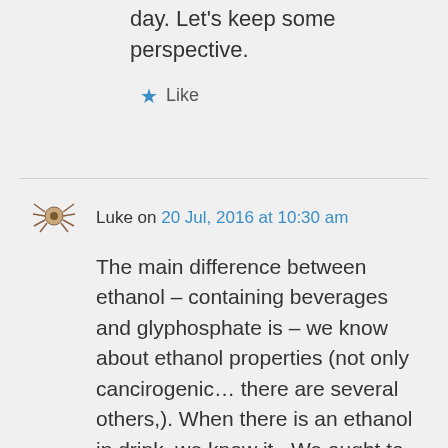day. Let's keep some perspective.
★ Like
Luke on 20 Jul, 2016 at 10:30 am
The main difference between ethanol – containing beverages and glyphosphate is – we know about ethanol properties (not only cancirogenic… there are several others,). When there is an ethanol in drink, we know it.. We ought to know if there is a glyphosphate in our food.
And seriously, the fact that there are stronger carcinogens than